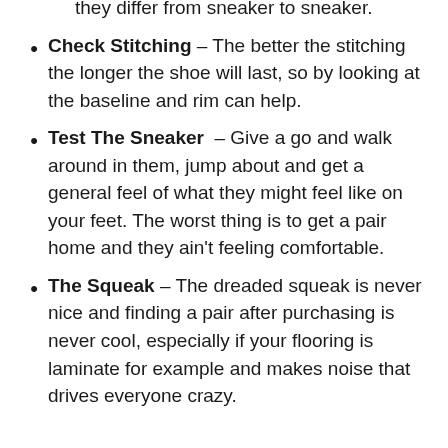they differ from sneaker to sneaker.
Check Stitching – The better the stitching the longer the shoe will last, so by looking at the baseline and rim can help.
Test The Sneaker – Give a go and walk around in them, jump about and get a general feel of what they might feel like on your feet. The worst thing is to get a pair home and they ain't feeling comfortable.
The Squeak – The dreaded squeak is never nice and finding a pair after purchasing is never cool, especially if your flooring is laminate for example and makes noise that drives everyone crazy.